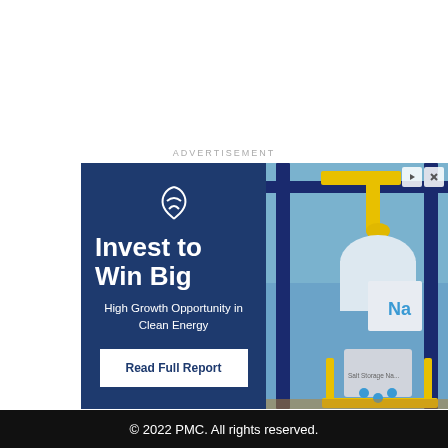ADVERTISEMENT
[Figure (infographic): Advertisement banner for a financial investment report on clean energy. Left side has dark blue background with a stylized logo, bold text 'Invest to Win Big', subtext 'High Growth Opportunity in Clean Energy', and a 'Read Full Report' button. Right side shows an industrial sodium salt storage facility with yellow scaffolding and blue steel structures.]
© 2022 PMC. All rights reserved.